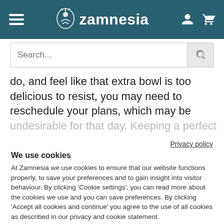Zamnesia
do, and feel like that extra bowl is too delicious to resist, you may need to reschedule your plans, which may be undesirable for that day. Keeping a perfect balance of
Privacy policy
We use cookies
At Zamnesia we use cookies to ensure that our website functions properly, to save your preferences and to gain insight into visitor behaviour. By clicking 'Cookie settings', you can read more about the cookies we use and you can save preferences. By clicking 'Accept all cookies and continue' you agree to the use of all cookies as described in our privacy and cookie statement.
Accept all cookies and continue
Cookie settings